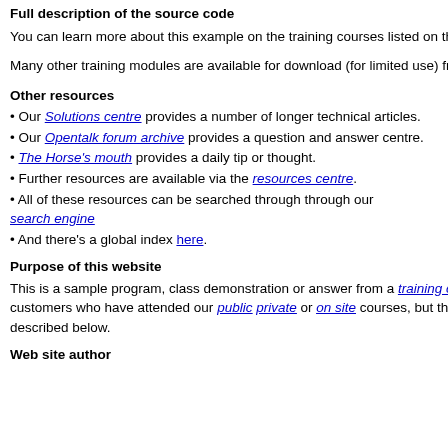Full description of the source code
You can learn more about this example on the training courses listed on this page, on which you'll be given a full set of training notes.
Many other training modules are available for download (for limited use) from our download centre under an Open Training Notes License.
Other resources
• Our Solutions centre provides a number of longer technical articles.
• Our Opentalk forum archive provides a question and answer centre.
• The Horse's mouth provides a daily tip or thought.
• Further resources are available via the resources centre.
• All of these resources can be searched through through our search engine
• And there's a global index here.
Purpose of this website
This is a sample program, class demonstration or answer from a training course. It's main purpose is to provide an after-course service to customers who have attended our public private or on site courses, but the examples are made generally available under conditions described below.
Web site author
attributes defined...
mod_demo.py - module in local.p...
mutton - Anonymn... and lambdas
myne.py - Modu... string and test ha...
mystuff.py - func... doc strings ...
noa - Mandatory... named paramete...
params.py - Opt... variable number o...
passenger - Cal... answer with sepa...
pf - Defining and... delivery order
pgob - Using obj... of generators
places.xyz - Sam...
poc.py - Scope o... samples
qv2 - Example th...
qv3 - alternative ...
recur.py - Recur...